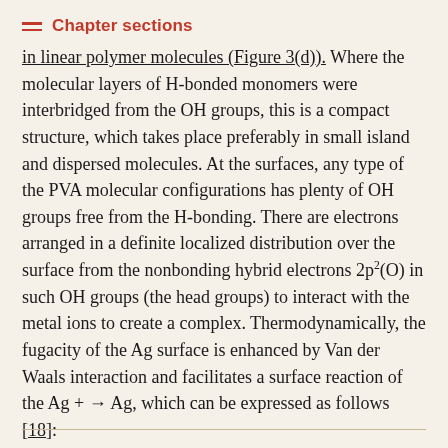Chapter sections
in linear polymer molecules (Figure 3(d)). Where the molecular layers of H-bonded monomers were interbridged from the OH groups, this is a compact structure, which takes place preferably in small island and dispersed molecules. At the surfaces, any type of the PVA molecular configurations has plenty of OH groups free from the H-bonding. There are electrons arranged in a definite localized distribution over the surface from the nonbonding hybrid electrons 2p²(O) in such OH groups (the head groups) to interact with the metal ions to create a complex. Thermodynamically, the fugacity of the Ag surface is enhanced by Van der Waals interaction and facilitates a surface reaction of the Ag + → Ag, which can be expressed as follows [18]: